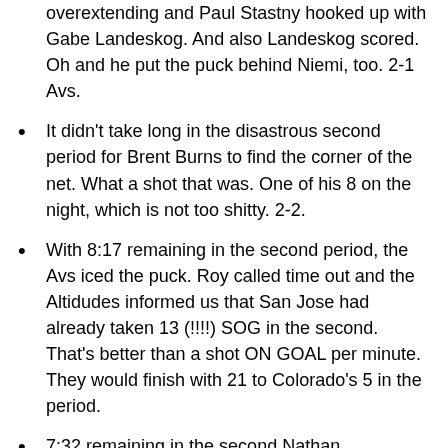overextending and Paul Stastny hooked up with Gabe Landeskog. And also Landeskog scored. Oh and he put the puck behind Niemi, too. 2-1 Avs.
It didn't take long in the disastrous second period for Brent Burns to find the corner of the net. What a shot that was. One of his 8 on the night, which is not too shitty. 2-2.
With 8:17 remaining in the second period, the Avs iced the puck. Roy called time out and the Altidudes informed us that San Jose had already taken 13 (!!!!) SOG in the second. That's better than a shot ON GOAL per minute. They would finish with 21 to Colorado's 5 in the period.
7:32 remaining in the second Nathan MacKinnon was called for high-sticking (ladies). About :40 into the penalty, a point shot made its way through a